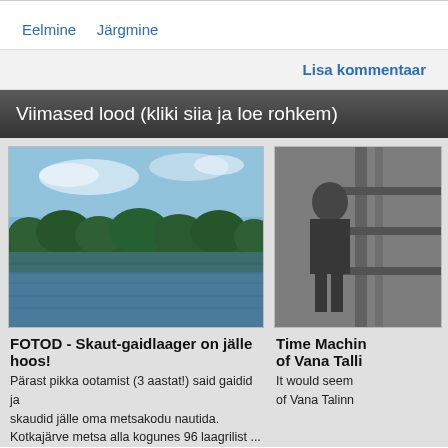Eelmine   Järgmine
Lisa kommentaar
Viimased lood (kliki siia ja loe rohkem)
[Figure (photo): Landscape photo of a lake with forest in the background, blue sky with clouds]
[Figure (photo): Black and white historical photo of a person, partially visible]
FOTOD - Skaut-gaidlaager on jälle hoos!
Pärast pikka ootamist (3 aastat!) said gaidid ja skaudid jälle oma metsakodu nautida. Kotkajärve metsa alla kogunes 96 laagrilist ...
Time Machin of Vana Talli
It would seem of Vana Tallin